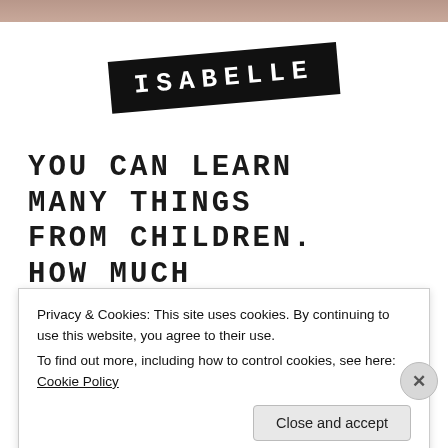[Figure (photo): Partial photo of a child at top of page]
ISABELLE
YOU CAN LEARN MANY THINGS FROM CHILDREN. HOW MUCH PATIENCE YOU HAVE, FOR INSTANCE.
Privacy & Cookies: This site uses cookies. By continuing to use this website, you agree to their use. To find out more, including how to control cookies, see here: Cookie Policy